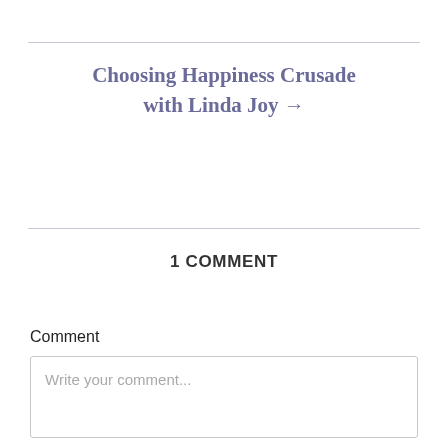Choosing Happiness Crusade with Linda Joy →
1 COMMENT
Comment
Write your comment...